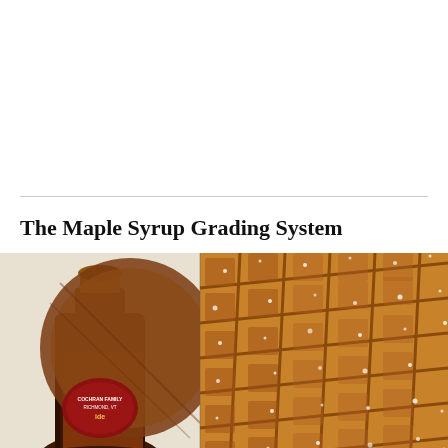The Maple Syrup Grading System
[Figure (photo): A bottle of Cochran Family maple syrup on the left side and a close-up of a powdered sugar dusted waffle on the right side.]